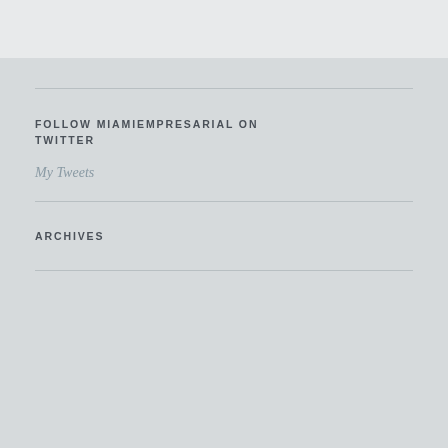FOLLOW MIAMIEMPRESARIAL ON TWITTER
My Tweets
ARCHIVES